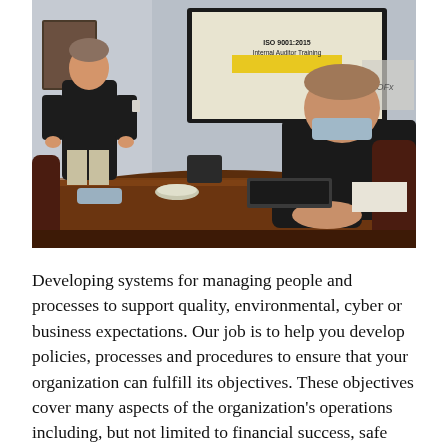[Figure (photo): A conference room training session. A presenter in a dark jacket stands near a projection screen displaying 'ISO 9001:2015 Internal Auditor Training'. A participant wearing a face mask sits at a large wooden conference table in the foreground.]
Developing systems for managing people and processes to support quality, environmental, cyber or business expectations. Our job is to help you develop policies, processes and procedures to ensure that your organization can fulfill its objectives. These objectives cover many aspects of the organization's operations including, but not limited to financial success, safe